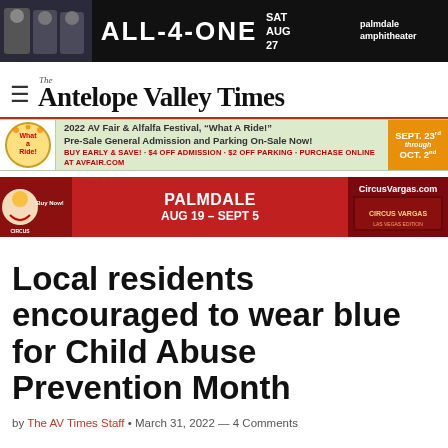[Figure (other): Advertisement banner for All-4-One concert at Palmdale Amphitheater, SAT AUG 27, black background with photo of performers]
The Antelope Valley Times
[Figure (other): Advertisement for 2022 AV Fair & Alfalfa Festival, 'What A Ride!' Pre-Sale General Admission and Parking On-Sale Now! SEPT. 23rd through OCT. 2nd]
[Figure (other): Advertisement for Circus Vargas, PALMDALE AUG 19 – SEPT 5, CircusVargas.com]
Local residents encouraged to wear blue for Child Abuse Prevention Month
by The AV Times Staff • March 31, 2022 — 4 Comments